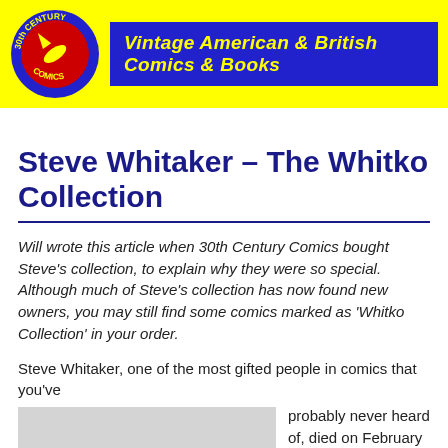Vintage American & British Comics & Books
Steve Whitaker – The Whitko Collection
Will wrote this article when 30th Century Comics bought Steve's collection, to explain why they were so special. Although much of Steve's collection has now found new owners, you may still find some comics marked as 'Whitko Collection' in your order.
Steve Whitaker, one of the most gifted people in comics that you've probably never heard of, died on February 22nd, 2008, of a
[Figure (photo): Grey placeholder image representing a photo of Steve Whitaker]